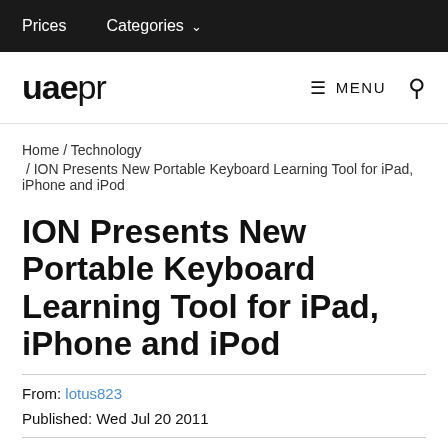Prices   Categories
[Figure (logo): uaepr logo with MENU and search icon navigation bar]
Home / Technology / ION Presents New Portable Keyboard Learning Tool for iPad, iPhone and iPod
ION Presents New Portable Keyboard Learning Tool for iPad, iPhone and iPod
From: lotus823
Published: Wed Jul 20 2011